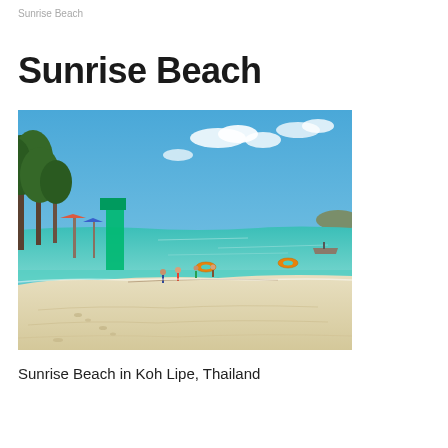Sunrise Beach
Sunrise Beach
[Figure (photo): A tropical beach scene at Sunrise Beach in Koh Lipe, Thailand. White sandy beach in foreground with clear turquoise water, green trees on the left, colorful beach structures, people walking, orange inflatable rings on water, and a mountain/island in the background under a blue sky with light clouds.]
Sunrise Beach in Koh Lipe, Thailand